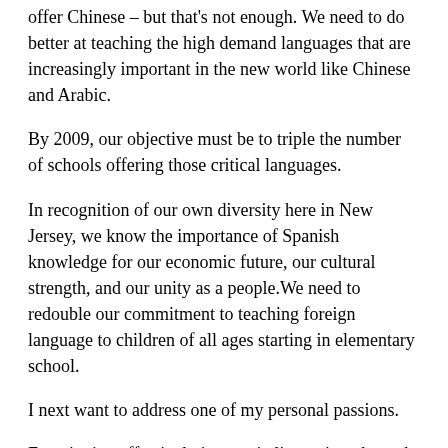offer Chinese – but that's not enough. We need to do better at teaching the high demand languages that are increasingly important in the new world like Chinese and Arabic.
By 2009, our objective must be to triple the number of schools offering those critical languages.
In recognition of our own diversity here in New Jersey, we know the importance of Spanish knowledge for our economic future, our cultural strength, and our unity as a people.We need to redouble our commitment to teaching foreign language to children of all ages starting in elementary school.
I next want to address one of my personal passions.
Functioning effectively in a capitalist society depends on understanding how capitalism works.
We cannot say we have prepared our students to succeed in